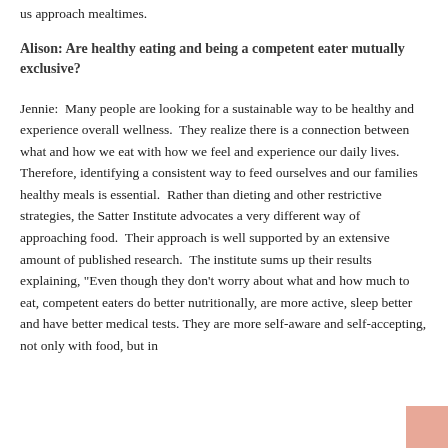us approach mealtimes.
Alison: Are healthy eating and being a competent eater mutually exclusive?
Jennie:  Many people are looking for a sustainable way to be healthy and experience overall wellness.  They realize there is a connection between what and how we eat with how we feel and experience our daily lives.  Therefore, identifying a consistent way to feed ourselves and our families healthy meals is essential.  Rather than dieting and other restrictive strategies, the Satter Institute advocates a very different way of approaching food.  Their approach is well supported by an extensive amount of published research.  The institute sums up their results explaining, "Even though they don't worry about what and how much to eat, competent eaters do better nutritionally, are more active, sleep better and have better medical tests. They are more self-aware and self-accepting, not only with food, but in